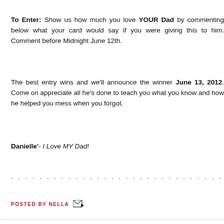To Enter: Show us how much you love YOUR Dad by commenting below what your card would say if you were giving this to him. Comment before Midnight June 12th.
The best entry wins and we'll announce the winner June 13, 2012. Come on appreciate all he's done to teach you what you know and how he helped you mess when you forgot.
Danielle'- I Love MY Dad!
. . . . . . . . . . . . . . . . . . . . . . . . . . . . . .   CLEARPLAY G
POSTED BY NELLA